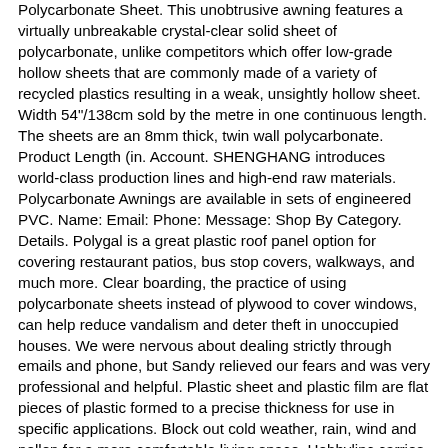Polycarbonate Sheet. This unobtrusive awning features a virtually unbreakable crystal-clear solid sheet of polycarbonate, unlike competitors which offer low-grade hollow sheets that are commonly made of a variety of recycled plastics resulting in a weak, unsightly hollow sheet. Width 54"/138cm sold by the metre in one continuous length. The sheets are an 8mm thick, twin wall polycarbonate. Product Length (in. Account. SHENGHANG introduces world-class production lines and high-end raw materials. Polycarbonate Awnings are available in sets of engineered PVC. Name: Email: Phone: Message: Shop By Category. Details. Polygal is a great plastic roof panel option for covering restaurant patios, bus stop covers, walkways, and much more. Clear boarding, the practice of using polycarbonate sheets instead of plywood to cover windows, can help reduce vandalism and deter theft in unoccupied houses. We were nervous about dealing strictly through emails and phone, but Sandy relieved our fears and was very professional and helpful. Plastic sheet and plastic film are flat pieces of plastic formed to a precise thickness for use in specific applications. Block out cold weather, rain, wind and pollen for a more comfortable living space. Hobbylinc carries 100 sheets - plain model scratch building plastic sheets / rods / tubes / strips at discounts up to 32%. We use only the best quality 0.75mm or 1.00mm clear plastics which are available in clear or tinted. Learn more. 36 in. Huge selection of sign, awning, wide format, and marine supplies. Buy polycarbonate roofing sheets from C & A Building Plastics, a leading UK polycarbonate...